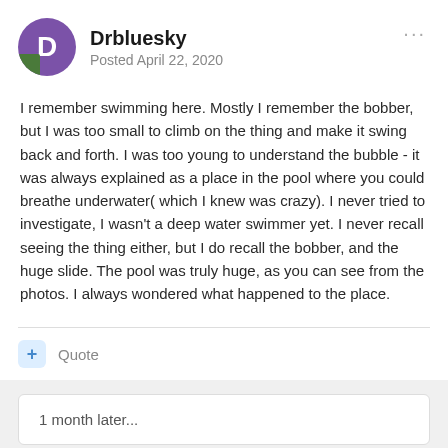Drbluesky
Posted April 22, 2020
I remember swimming here. Mostly I remember the bobber, but I was too small to climb on the thing and make it swing back and forth. I was too young to understand the bubble - it was always explained as a place in the pool where you could breathe underwater( which I knew was crazy). I never tried to investigate, I wasn't a deep water swimmer yet. I never recall seeing the thing either, but I do recall the bobber, and the huge slide. The pool was truly huge, as you can see from the photos. I always wondered what happened to the place.
+ Quote
1 month later...